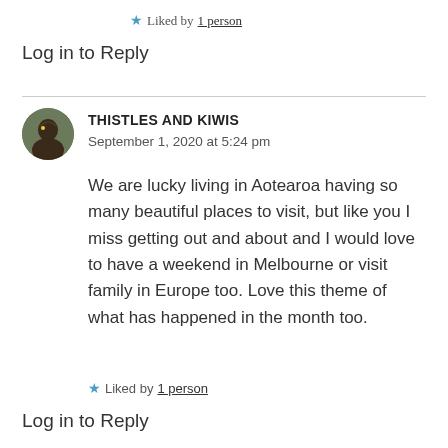★ Liked by 1 person
Log in to Reply
THISTLES AND KIWIS
September 1, 2020 at 5:24 pm
We are lucky living in Aotearoa having so many beautiful places to visit, but like you I miss getting out and about and I would love to have a weekend in Melbourne or visit family in Europe too. Love this theme of what has happened in the month too.
★ Liked by 1 person
Log in to Reply